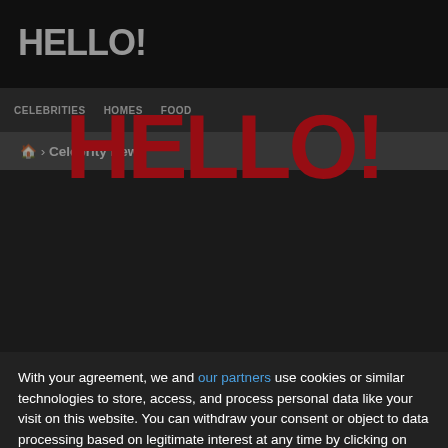[Figure (screenshot): Hello! magazine website screenshot showing top navigation bar with HELLO! logo, nav items (CELEBRITIES, HOMES, FOOD), and a breadcrumb showing Celebrity News, with dark background content area]
[Figure (logo): Large red HELLO! logo displayed in center of page as part of cookie consent modal overlay]
With your agreement, we and our partners use cookies or similar technologies to store, access, and process personal data like your visit on this website. You can withdraw your consent or object to data processing based on legitimate interest at any time by clicking on "Learn More" or in our Privacy Policy on this website.
We and our partners to process your data:
Personalised ads and content, ad and content measurement, audience insights and product development, Precise geolocation data, and identification through device scanning, Store and/or access information on a device
OPTIONS
I AGREE